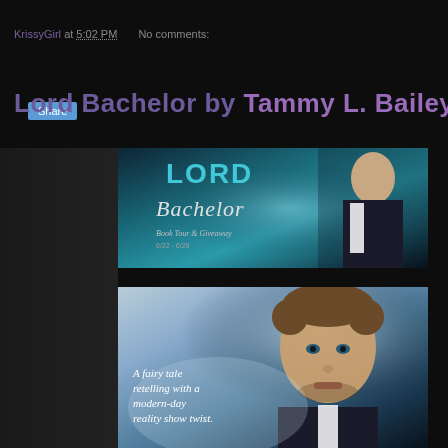KrissyGirl at 5:02 PM   No comments:
Share
Lord Bachelor by Tammy L. Bailey
[Figure (illustration): Banner image for Lord Bachelor book tour and giveaway, showing the title 'LORD Bachelor' in teal and silver script font, with a well-dressed man in a suit on the right side, on a dark teal/blue gradient background. A vertical sidebar label on the left reads 'The Dragon Dreamer'.]
[Figure (illustration): Book cover image showing a close-up of a handsome man's face with styled hair against a misty blue-grey background, with text overlay reading 'A fairy tale retelling with a modern-day reality show twist.']